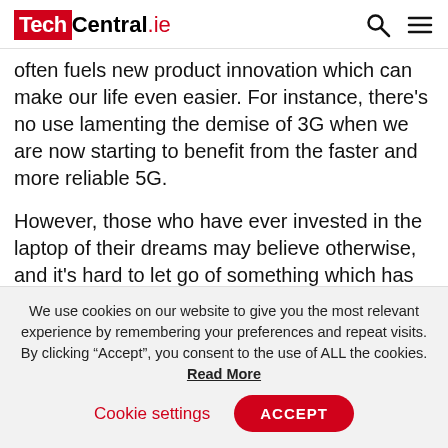TechCentral.ie
often fuels new product innovation which can make our life even easier. For instance, there's no use lamenting the demise of 3G when we are now starting to benefit from the faster and more reliable 5G.
However, those who have ever invested in the laptop of their dreams may believe otherwise, and it's hard to let go of something which has worked so well for so many years. Costs, too, are a significant issue: many can't afford to splurge on a brand-new laptop,
We use cookies on our website to give you the most relevant experience by remembering your preferences and repeat visits. By clicking "Accept", you consent to the use of ALL the cookies. Read More
Cookie settings   ACCEPT